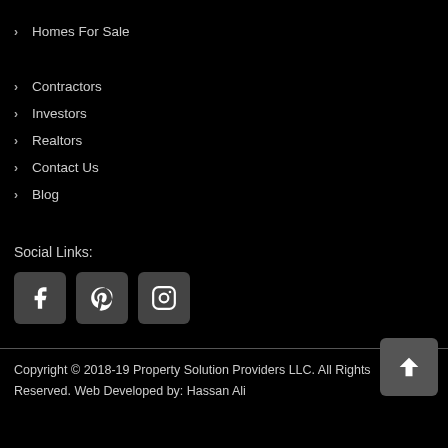> Homes For Sale
> Contractors
> Investors
> Realtors
> Contact Us
> Blog
Social Links:
[Figure (infographic): Social media icons: Facebook, Pinterest, Instagram]
Copyright © 2018-19 Property Solution Providers LLC. All Rights Reserved. Web Developed by: Hassan Ali